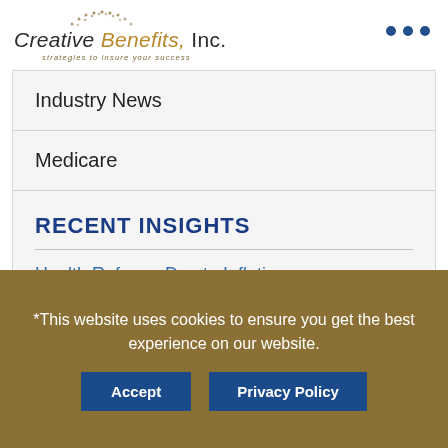Creative Benefits, Inc. — strategies to insure your success
Industry News
Medicare
RECENT INSIGHTS
Health Reforms Due to Inflation
*This website uses cookies to ensure you get the best experience on our website.
Accept
Privacy Policy